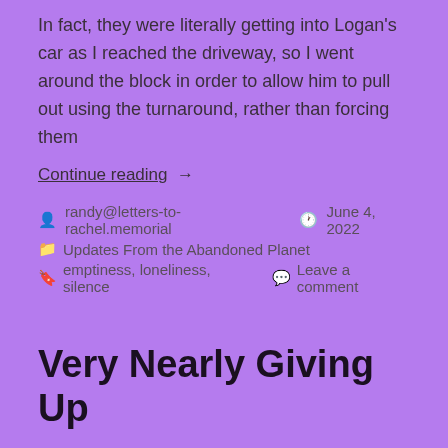In fact, they were literally getting into Logan's car as I reached the driveway, so I went around the block in order to allow him to pull out using the turnaround, rather than forcing them
Continue reading  →
randy@letters-to-rachel.memorial   June 4, 2022   Updates From the Abandoned Planet   emptiness, loneliness, silence   Leave a comment
Very Nearly Giving Up
Dearest Rachel – I've occasionally lamented that, unlike